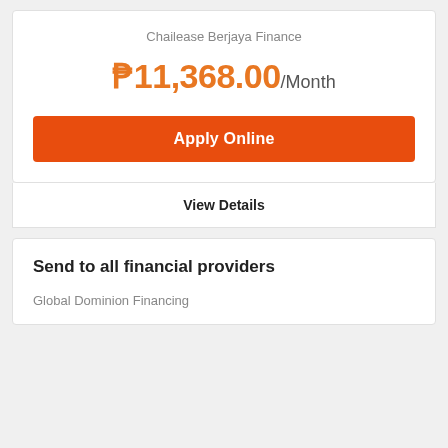Chailease Berjaya Finance
₱11,368.00/Month
Apply Online
View Details
Send to all financial providers
Global Dominion Financing